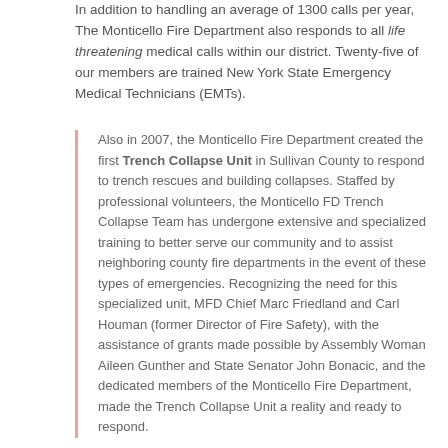In addition to handling an average of 1300 calls per year, The Monticello Fire Department also responds to all life threatening medical calls within our district. Twenty-five of our members are trained New York State Emergency Medical Technicians (EMTs).
Also in 2007, the Monticello Fire Department created the first Trench Collapse Unit in Sullivan County to respond to trench rescues and building collapses. Staffed by professional volunteers, the Monticello FD Trench Collapse Team has undergone extensive and specialized training to better serve our community and to assist neighboring county fire departments in the event of these types of emergencies. Recognizing the need for this specialized unit, MFD Chief Marc Friedland and Carl Houman (former Director of Fire Safety), with the assistance of grants made possible by Assembly Woman Aileen Gunther and State Senator John Bonacic, and the dedicated members of the Monticello Fire Department, made the Trench Collapse Unit a reality and ready to respond.